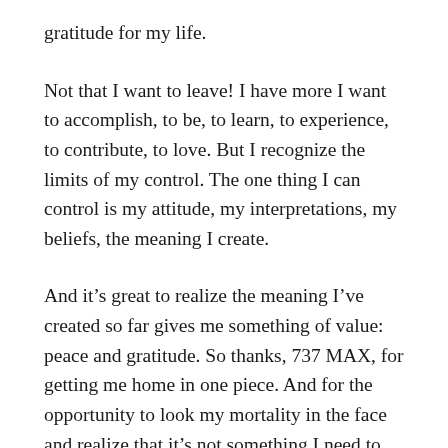gratitude for my life.
Not that I want to leave! I have more I want to accomplish, to be, to learn, to experience, to contribute, to love. But I recognize the limits of my control. The one thing I can control is my attitude, my interpretations, my beliefs, the meaning I create.
And it’s great to realize the meaning I’ve created so far gives me something of value: peace and gratitude. So thanks, 737 MAX, for getting me home in one piece. And for the opportunity to look my mortality in the face and realize that it’s not something I need to freak out about. Perhaps it’s all the reading on